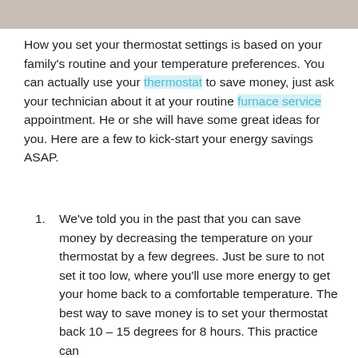[Figure (photo): Partial photo strip at top of page showing people, cropped]
How you set your thermostat settings is based on your family's routine and your temperature preferences. You can actually use your thermostat to save money, just ask your technician about it at your routine furnace service appointment. He or she will have some great ideas for you. Here are a few to kick-start your energy savings ASAP.
We've told you in the past that you can save money by decreasing the temperature on your thermostat by a few degrees. Just be sure to not set it too low, where you'll use more energy to get your home back to a comfortable temperature. The best way to save money is to set your thermostat back 10 – 15 degrees for 8 hours. This practice can